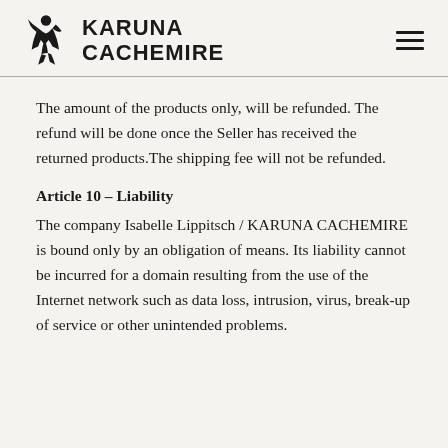KARUNA CACHEMIRE
The amount of the products only, will be refunded. The refund will be done once the Seller has received the returned products.The shipping fee will not be refunded.
Article 10 – Liability
The company Isabelle Lippitsch / KARUNA CACHEMIRE is bound only by an obligation of means. Its liability cannot be incurred for a domain resulting from the use of the Internet network such as data loss, intrusion, virus, break-up of service or other unintended problems.